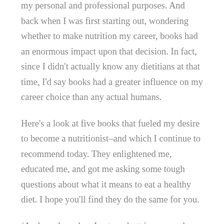my personal and professional purposes. And back when I was first starting out, wondering whether to make nutrition my career, books had an enormous impact upon that decision. In fact, since I didn't actually know any dietitians at that time, I'd say books had a greater influence on my career choice than any actual humans.
Here's a look at five books that fueled my desire to become a nutritionist–and which I continue to recommend today. They enlightened me, educated me, and got me asking some tough questions about what it means to eat a healthy diet. I hope you'll find they do the same for you.
(And maybe, when I get my butt in gear and read a few more current books, I'll write another post with a few